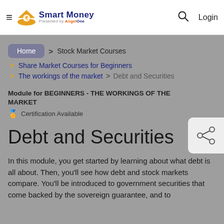Smart Money — presented by AngelOne | Search | Login
Home > Stock Market Courses
> Share Market Courses for Beginners
> The workings of the market > Debt and Securities
Module for BEGINNERS - THE WORKINGS OF THE MARKET
🏅 Certification Available
Debt and Securities
In this module, you get started by learning about what debt is all about. Then, you'll see how debt and stock markets compare. You'll be introduced to government securities that come backed by the sovereign guarantee, and to